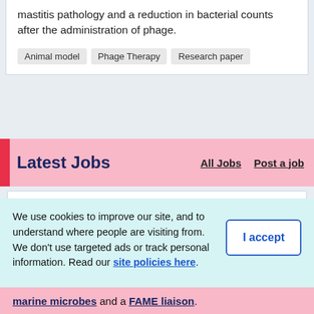mastitis pathology and a reduction in bacterial counts after the administration of phage.
Animal model
Phage Therapy
Research paper
Latest Jobs
All Jobs
Post a job
We use cookies to improve our site, and to understand where people are visiting from. We don't use targeted ads or track personal information. Read our site policies here.
I accept
marine microbes and a FAME liaison.